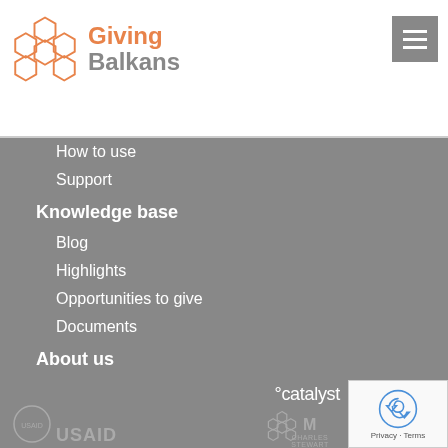[Figure (logo): Giving Balkans logo with hexagonal pattern and orange/grey text]
How to use
Support
Knowledge base
Blog
Highlights
Opportunities to give
Documents
About us
About Catalyst
Contact us
Supported by
[Figure (logo): Catalyst logo in white text]
[Figure (logo): USAID logo]
[Figure (logo): Giving Balkans small hex logo]
[Figure (logo): Charles Stewart Mott Foundation logo partial]
[Figure (other): reCAPTCHA Privacy - Terms overlay]